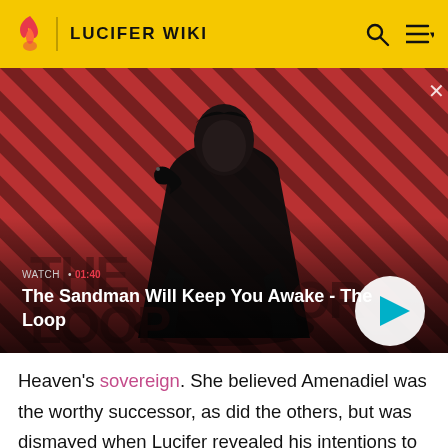LUCIFER WIKI
[Figure (screenshot): Video thumbnail featuring a dark-clad figure with a raven on shoulder against a red diagonal striped background. Text overlay: WATCH 01:40. Title: The Sandman Will Keep You Awake - The Loop. Play button visible bottom right.]
Heaven's sovereign. She believed Amenadiel was the worthy successor, as did the others, but was dismayed when Lucifer revealed his intentions to replace their Father. Remiel begged Amenadiel to say he was taking God's place, but much to her disappointment, he gave